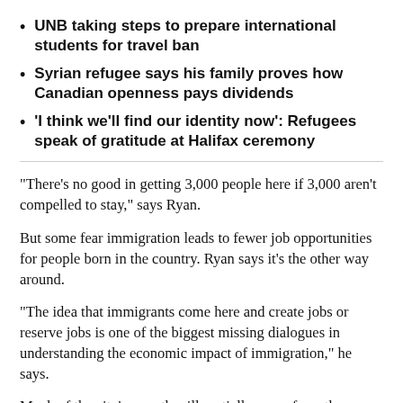UNB taking steps to prepare international students for travel ban
Syrian refugee says his family proves how Canadian openness pays dividends
'I think we'll find our identity now': Refugees speak of gratitude at Halifax ceremony
“There’s no good in getting 3,000 people here if 3,000 aren’t compelled to stay,” says Ryan.
But some fear immigration leads to fewer job opportunities for people born in the country. Ryan says it’s the other way around.
“The idea that immigrants come here and create jobs or reserve jobs is one of the biggest missing dialogues in understanding the economic impact of immigration,” he says.
Much of the city’s growth will partially come from the